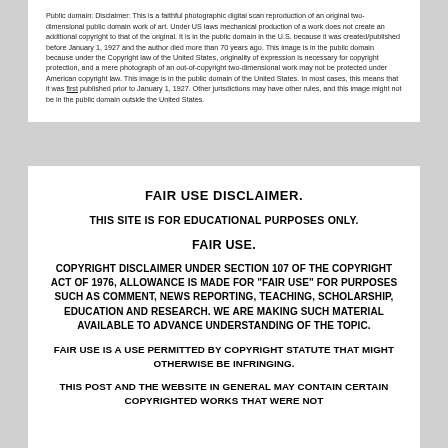Public domain: Disclaimer: This is a faithful photographic digital scan reproduction of an original two-dimensional public domain work of art. Under US laws mechanical production of a work does not create an additional copyright to that of the original. It is in the public domain in the U.S. because it was created/published before January 1, 1927 and the author died more than 70 years ago. This image is in the public domain because under the Copyright law of the United States, originality of expression is necessary for copyright protection, and a mere photograph of an out-of-copyright two-dimensional work may not be protected under American copyright law. This image is in the public domain of the United States. In most cases, this means that it was first published prior to January 1, 1927. Other jurisdictions may have other rules, and this image might not be in the public domain outside the United States.
FAIR USE DISCLAIMER.
THIS SITE IS FOR EDUCATIONAL PURPOSES ONLY.
FAIR USE.
COPYRIGHT DISCLAIMER UNDER SECTION 107 OF THE COPYRIGHT ACT OF 1976, ALLOWANCE IS MADE FOR "FAIR USE" FOR PURPOSES SUCH AS COMMENT, NEWS REPORTING, TEACHING, SCHOLARSHIP, EDUCATION AND RESEARCH. WE ARE MAKING SUCH MATERIAL AVAILABLE TO ADVANCE UNDERSTANDING OF THE TOPIC.
FAIR USE IS A USE PERMITTED BY COPYRIGHT STATUTE THAT MIGHT OTHERWISE BE INFRINGING.
THIS POST AND THE WEBSITE IN GENERAL MAY CONTAIN CERTAIN COPYRIGHTED WORKS THAT WERE NOT